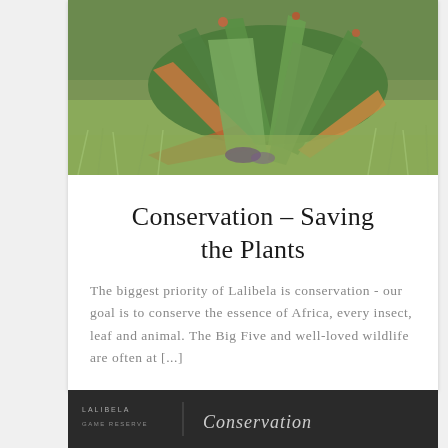[Figure (photo): Close-up photo of an aloe or succulent plant with spiky green and reddish-tipped leaves surrounded by dry grass in a natural African landscape setting.]
Conservation – Saving the Plants
The biggest priority of Lalibela is conservation - our goal is to conserve the essence of Africa, every insect, leaf and animal. The Big Five and well-loved wildlife are often at [...]
[Figure (photo): Dark-toned card with text elements including what appears to be a logo or header for a related article or section.]